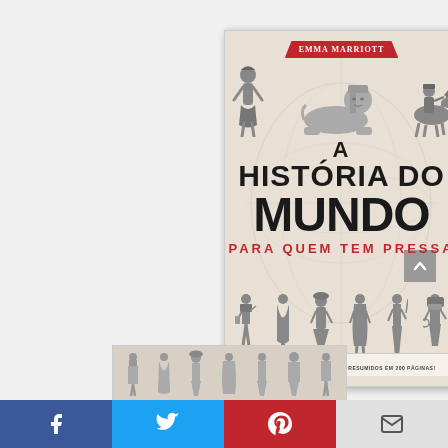[Figure (illustration): Book cover of 'A História do Mundo Para Quem Tem Pressa' by Emma Marriott. Features historical illustrations (sphinx, figures in period clothing, horseman) with bold black title text and red subtitle. Bottom shows additional historical figures. Below is a partial view of the back cover with more figures.]
[Figure (infographic): Social media sharing bar with Facebook (blue), Twitter (light blue), Pinterest (red), and email (grey) buttons at the bottom of the page. Also a grey scroll-to-top arrow button on the right side.]